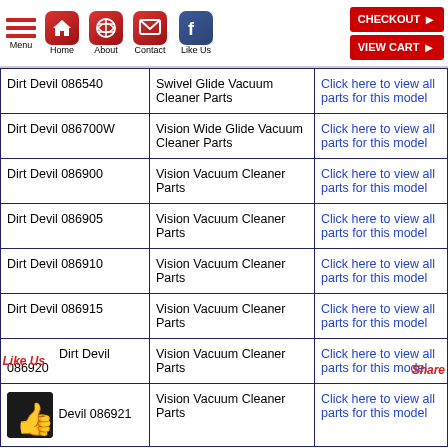Navigation bar with Menu, Home, About, Contact, Like Us icons, CHECKOUT and VIEW CART buttons
| Model | Description | Link |
| --- | --- | --- |
| Dirt Devil 086540 | Swivel Glide Vacuum Cleaner Parts | Click here to view all parts for this model |
| Dirt Devil 086700W | Vision Wide Glide Vacuum Cleaner Parts | Click here to view all parts for this model |
| Dirt Devil 086900 | Vision Vacuum Cleaner Parts | Click here to view all parts for this model |
| Dirt Devil 086905 | Vision Vacuum Cleaner Parts | Click here to view all parts for this model |
| Dirt Devil 086910 | Vision Vacuum Cleaner Parts | Click here to view all parts for this model |
| Dirt Devil 086915 | Vision Vacuum Cleaner Parts | Click here to view all parts for this model |
| Dirt Devil 086920 | Vision Vacuum Cleaner Parts | Click here to view all parts for this model |
| Dirt Devil 086921 | Vision Vacuum Cleaner Parts | Click here to view all parts for this model |